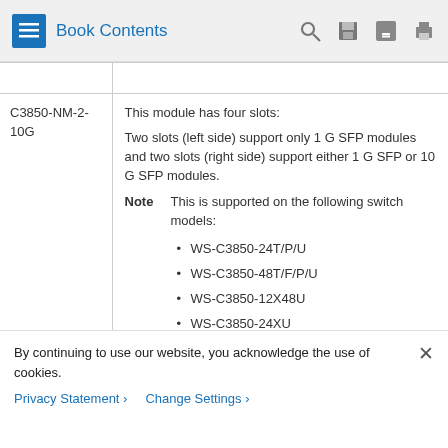Book Contents
|  |  |
| --- | --- |
| C3850-NM-2-10G | This module has four slots:
Two slots (left side) support only 1 G SFP modules and two slots (right side) support either 1 G SFP or 10 G SFP modules.
Note: This is supported on the following switch models:
• WS-C3850-24T/P/U
• WS-C3850-48T/F/P/U
• WS-C3850-12X48U
• WS-C3850-24XU
• WS-C3850-48X... |
By continuing to use our website, you acknowledge the use of cookies.
Privacy Statement >   Change Settings >